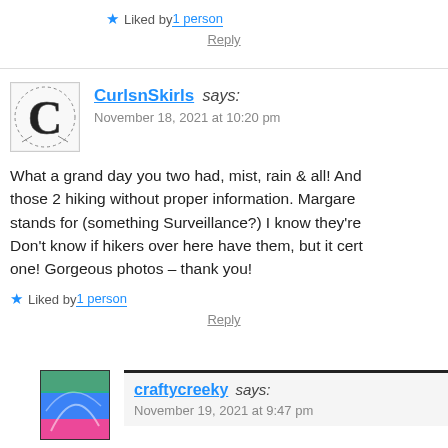★ Liked by 1 person
Reply
CurlsnSkirls says: November 18, 2021 at 10:20 pm
What a grand day you two had, mist, rain & all! And those 2 hiking without proper information. Margaret stands for (something Surveillance?) I know they're Don't know if hikers over here have them, but it cert one! Gorgeous photos – thank you!
★ Liked by 1 person
Reply
craftycreeky says: November 19, 2021 at 9:47 pm